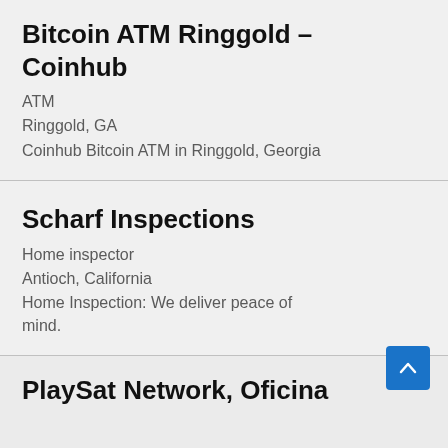Bitcoin ATM Ringgold – Coinhub
ATM
Ringgold, GA
Coinhub Bitcoin ATM in Ringgold, Georgia
Scharf Inspections
Home inspector
Antioch, California
Home Inspection: We deliver peace of mind.
PlaySat Network, Oficina